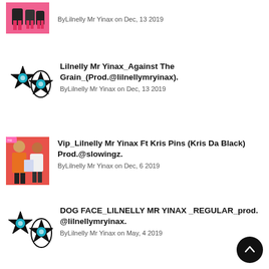[Figure (photo): Partial thumbnail image with pink background, top of page]
ByLilnelly Mr Yinax on Dec, 13 2019
[Figure (photo): Two star/dog face logos side by side on white background]
Lilnelly Mr Yinax_Against The Grain_(Prod.@lilnellymryinax).
ByLilnelly Mr Yinax on Dec, 13 2019
[Figure (photo): Two men posing on red/pink background, one in orange jacket]
Vip_Lilnelly Mr Yinax Ft Kris Pins (Kris Da Black) Prod.@slowingz.
ByLilnelly Mr Yinax on Dec, 6 2019
[Figure (photo): Two star/dog face logos side by side on white background]
DOG FACE_LILNELLY MR YINAX _REGULAR_prod. @lilnellymryinax.
ByLilnelly Mr Yinax on May, 4 2019